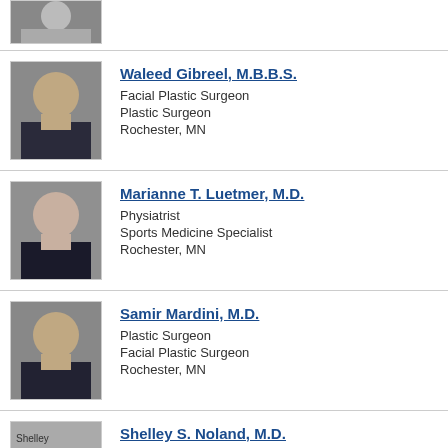[Figure (photo): Partial photo of a person at the top of the page, cropped]
[Figure (photo): Professional headshot of Waleed Gibreel]
Waleed Gibreel, M.B.B.S.
Facial Plastic Surgeon
Plastic Surgeon
Rochester, MN
[Figure (photo): Professional headshot of Marianne T. Luetmer]
Marianne T. Luetmer, M.D.
Physiatrist
Sports Medicine Specialist
Rochester, MN
[Figure (photo): Professional headshot of Samir Mardini]
Samir Mardini, M.D.
Plastic Surgeon
Facial Plastic Surgeon
Rochester, MN
[Figure (photo): Partial photo of Shelley S. Noland, bottom cut off]
Shelley S. Noland, M.D.